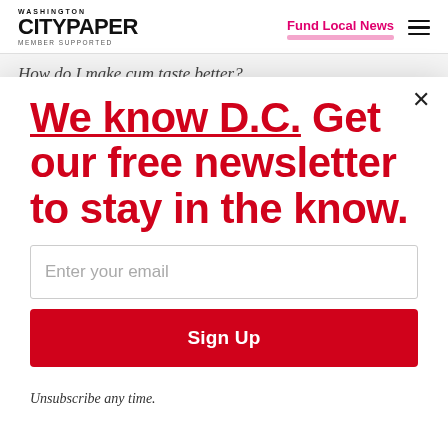WASHINGTON CITYPAPER MEMBER SUPPORTED | Fund Local News
How do I make cum taste better?
We know D.C. Get our free newsletter to stay in the know.
Enter your email
Sign Up
Unsubscribe any time.